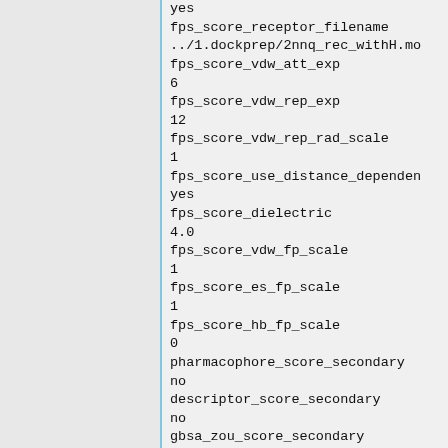yes
fps_score_receptor_filename
../1.dockprep/2nnq_rec_withH.mo
fps_score_vdw_att_exp
6
fps_score_vdw_rep_exp
12
fps_score_vdw_rep_rad_scale
1
fps_score_use_distance_dependen
yes
fps_score_dielectric
4.0
fps_score_vdw_fp_scale
1
fps_score_es_fp_scale
1
fps_score_hb_fp_scale
0
pharmacophore_score_secondary
no
descriptor_score_secondary
no
gbsa_zou_score_secondary
no